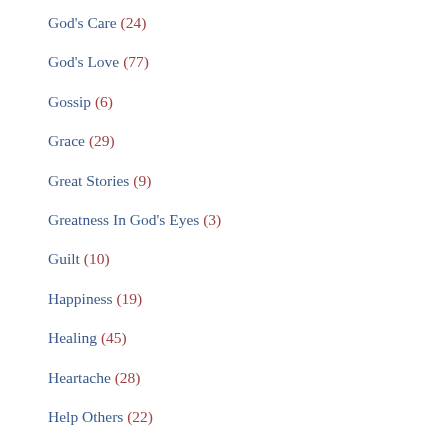God's Care (24)
God's Love (77)
Gossip (6)
Grace (29)
Great Stories (9)
Greatness In God's Eyes (3)
Guilt (10)
Happiness (19)
Healing (45)
Heartache (28)
Help Others (22)
Hope (39)
Jacob – Part 1 (1)
Jacob – Part 2 (1)
Life Help (83)